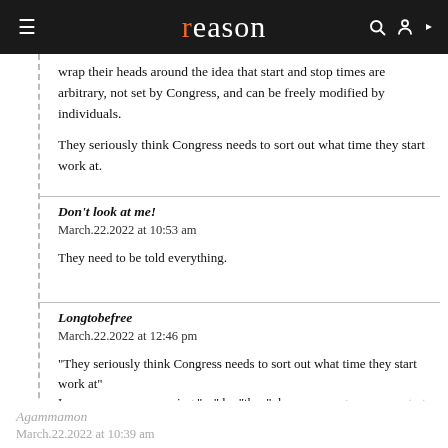reason
wrap their heads around the idea that start and stop times are arbitrary, not set by Congress, and can be freely modified by individuals.
They seriously think Congress needs to sort out what time they start work at.
Don't look at me!
March.22.2022 at 10:53 am

They need to be told everything.
Longtobefree
March.22.2022 at 12:46 pm

"They seriously think Congress needs to sort out what time they start work at"
I assume you are meaning "us" by "they", because congress never starts work, because they do no work themselves
Agammamon
March.22.2022 at 10:39 am